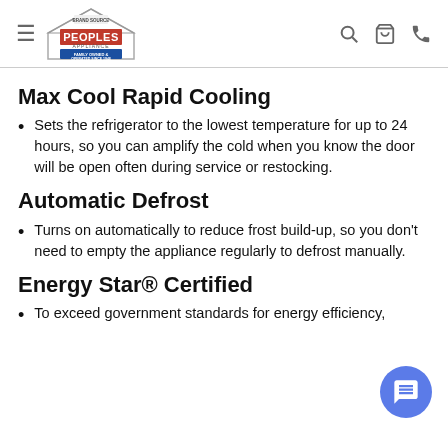Peoples Appliance — Family Owned & Operated Since 1948
Max Cool Rapid Cooling
Sets the refrigerator to the lowest temperature for up to 24 hours, so you can amplify the cold when you know the door will be open often during service or restocking.
Automatic Defrost
Turns on automatically to reduce frost build-up, so you don't need to empty the appliance regularly to defrost manually.
Energy Star® Certified
To exceed government standards for energy efficiency,